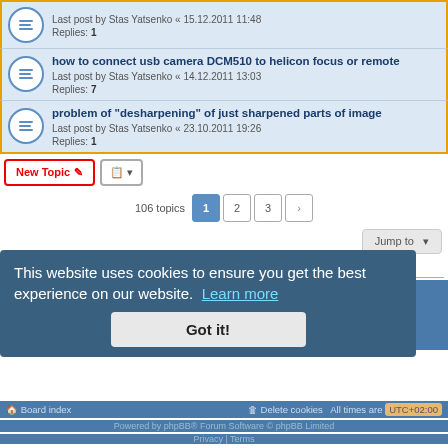Last post by Stas Yatsenko « 15.12.2011 11:48
Replies: 1
how to connect usb camera DCM510 to helicon focus or remote
Last post by Stas Yatsenko « 14.12.2011 13:03
Replies: 7
problem of "desharpening" of just sharpened parts of image
Last post by Stas Yatsenko « 23.10.2011 19:26
Replies: 1
New Topic | Sort | 106 topics | 1 | 2 | 3 | > | Jump to
FORUM PERMISSIONS
You cannot post new topics in this forum
You cannot reply to topics in this forum
You cannot edit your posts in this forum
You cannot delete your posts in this forum
You cannot post attachments in this forum
This website uses cookies to ensure you get the best experience on our website. Learn more
Got it!
Board index | Delete cookies | All times are UTC+02:00 | Powered by phpBB® Forum Software © phpBB Limited | Privacy | Terms